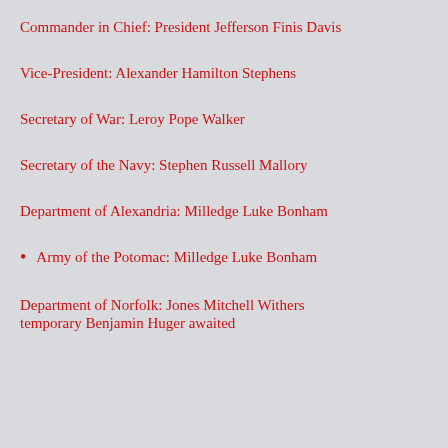Commander in Chief: President Jefferson Finis Davis
Vice-President: Alexander Hamilton Stephens
Secretary of War: Leroy Pope Walker
Secretary of the Navy: Stephen Russell Mallory
Department of Alexandria: Milledge Luke Bonham
Army of the Potomac: Milledge Luke Bonham
Department of Norfolk: Jones Mitchell Withers temporary Benjamin Huger awaited